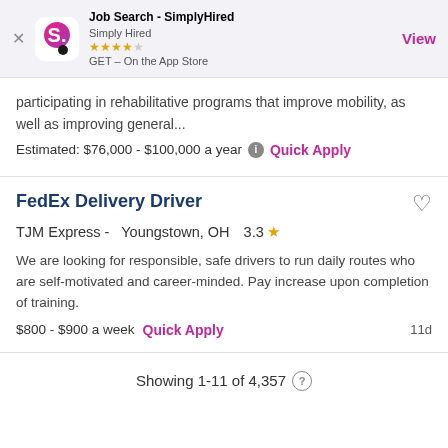[Figure (screenshot): SimplyHired app banner with logo, star rating, and View button]
participating in rehabilitative programs that improve mobility, as well as improving general...
Estimated: $76,000 - $100,000 a year  Quick Apply
FedEx Delivery Driver
TJM Express -  Youngstown, OH    3.3
We are looking for responsible, safe drivers to run daily routes who are self-motivated and career-minded. Pay increase upon completion of training.
$800 - $900 a week   Quick Apply   11d
Showing 1-11 of 4,357